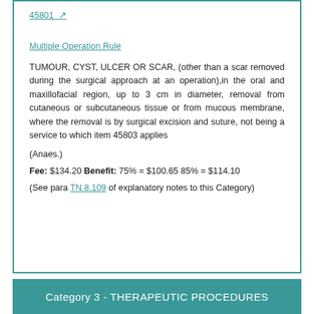45801 ↗
Multiple Operation Rule
TUMOUR, CYST, ULCER OR SCAR, (other than a scar removed during the surgical approach at an operation),in the oral and maxillofacial region, up to 3 cm in diameter, removal from cutaneous or subcutaneous tissue or from mucous membrane, where the removal is by surgical excision and suture, not being a service to which item 45803 applies
(Anaes.)
Fee: $134.20 Benefit: 75% = $100.65 85% = $114.10
(See para TN.8.109 of explanatory notes to this Category)
Category 3 - THERAPEUTIC PROCEDURES